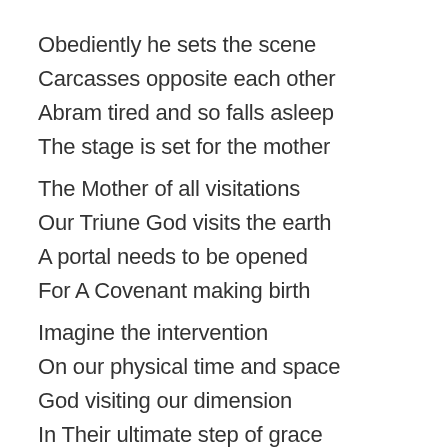Obediently he sets the scene
Carcasses opposite each other
Abram tired and so falls asleep
The stage is set for the mother
The Mother of all visitations
Our Triune God visits the earth
A portal needs to be opened
For A Covenant making birth
Imagine the intervention
On our physical time and space
God visiting our dimension
In Their ultimate step of grace